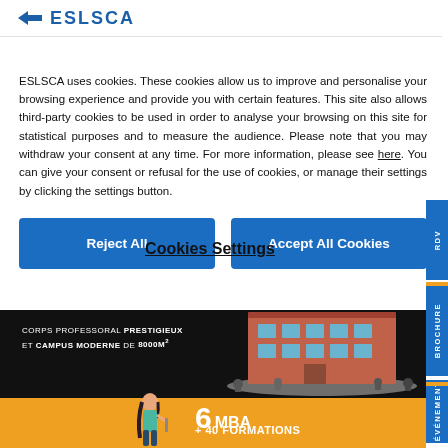ESLSCA
ESLSCA uses cookies. These cookies allow us to improve and personalise your browsing experience and provide you with certain features. This site also allows third-party cookies to be used in order to analyse your browsing on this site for statistical purposes and to measure the audience. Please note that you may withdraw your consent at any time. For more information, please see here. You can give your consent or refusal for the use of cookies, or manage their settings by clicking the settings button.
Reject All
Accept All Cookies
Cookies Settings
CORPS PROFESSORAL PRESTIGIEUX ET CAMPUS MODERNE DE 8000m²
6 MBA + 40 FORMATIONS